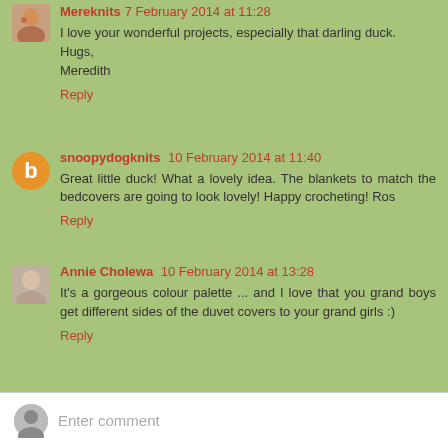Mereknits 7 February 2014 at 11:28
I love your wonderful projects, especially that darling duck.
Hugs,
Meredith
Reply
snoopydogknits 10 February 2014 at 11:40
Great little duck! What a lovely idea. The blankets to match the bedcovers are going to look lovely! Happy crocheting! Ros
Reply
Annie Cholewa 10 February 2014 at 13:28
It's a gorgeous colour palette ... and I love that you grand boys get different sides of the duvet covers to your grand girls :)
Reply
Enter comment